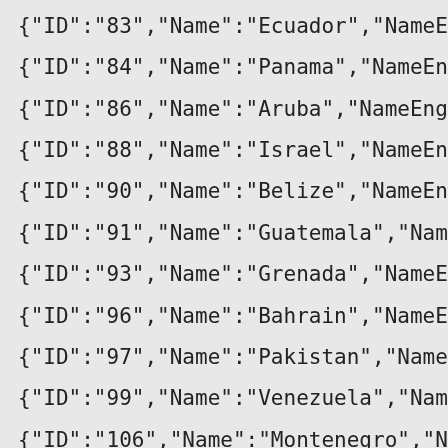{"ID":"83","Name":"Ecuador","NameEng":"Ecuador","C
{"ID":"84","Name":"Panama","NameEng":"Panama","Co
{"ID":"86","Name":"Aruba","NameEng":"Aruba","Countr
{"ID":"88","Name":"Israel","NameEng":"Israel","Country
{"ID":"90","Name":"Belize","NameEng":"Belize","Count
{"ID":"91","Name":"Guatemala","NameEng":"Guatemala
{"ID":"93","Name":"Grenada","NameEng":"Grenada","C
{"ID":"96","Name":"Bahrain","NameEng":"Bahrain","Cou
{"ID":"97","Name":"Pakistan","NameEng":"Pakistan","Co
{"ID":"99","Name":"Venezuela","NameEng":"Venezuela
{"ID":"106","Name":"Montenegro","NameEng":"Monte
{"ID":"110","Name":"Ukraine","NameEng":"Ukraine","Ce
{"ID":"111","Name":"Malta","NameEng":"Malta","Country
{"ID":"116","Name":"El Salvador","NameEng":"El Salvador","CountryCode":"SV","CountryCodeThree"
{"ID":"117","Name":"Paraguay","NameEng":"Paraguay